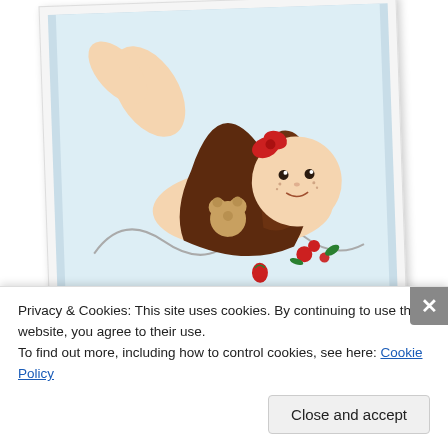[Figure (illustration): A polaroid-style photo showing a cartoon girl character with long brown hair and a red bow, lying down and holding a small bear, with red flowers and decorative swirls. Text on polaroid reads 'I Design for Tilda's Town Challenges'.]
Malin
[Figure (photo): Partial view of a second polaroid-style image, mostly cut off at the bottom of the visible area.]
Privacy & Cookies: This site uses cookies. By continuing to use this website, you agree to their use.
To find out more, including how to control cookies, see here: Cookie Policy
Close and accept